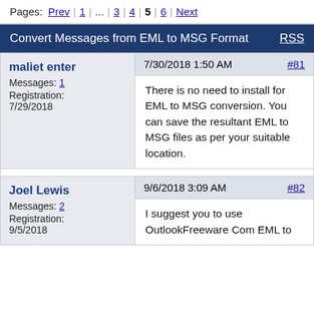Pages: Prev | 1 | ... | 3 | 4 | 5 | 6 | Next
Convert Messages from EML to MSG Format   RSS
| User | Post |
| --- | --- |
| maliet enter
Messages: 1
Registration: 7/29/2018 | 7/30/2018 1:50 AM  #81
There is no need to install for EML to MSG conversion. You can save the resultant EML to MSG files as per your suitable location. |
| Joel Lewis
Messages: 2
Registration: 9/5/2018 | 9/6/2018 3:09 AM  #82
I suggest you to use OutlookFreeware Com EML to |